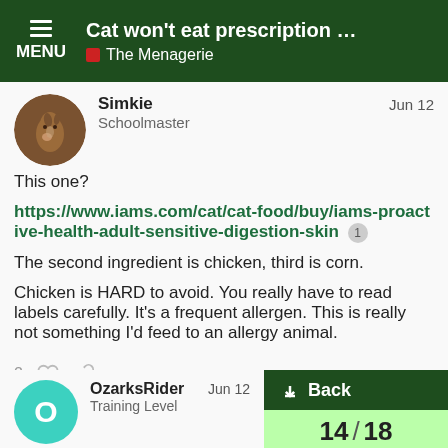Cat won't eat prescription diet and I don't k... | The Menagerie
Simkie
Schoolmaster
Jun 12
This one?
https://www.iams.com/cat/cat-food/buy/iams-proactive-health-adult-sensitive-digestion-skin 1
The second ingredient is chicken, third is corn.
Chicken is HARD to avoid. You really have to read labels carefully. It's a frequent allergen. This is really not something I'd feed to an allergy animal.
2 ♡ 🔗
OzarksRider
Training Level
Jun 12
↓ Back
14 / 18